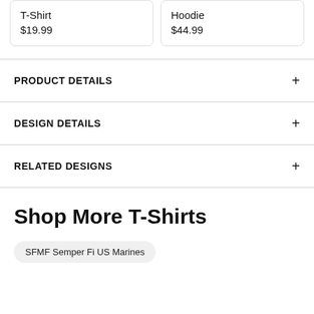T-Shirt
$19.99
Hoodie
$44.99
PRODUCT DETAILS
DESIGN DETAILS
RELATED DESIGNS
Shop More T-Shirts
SFMF Semper Fi US Marines